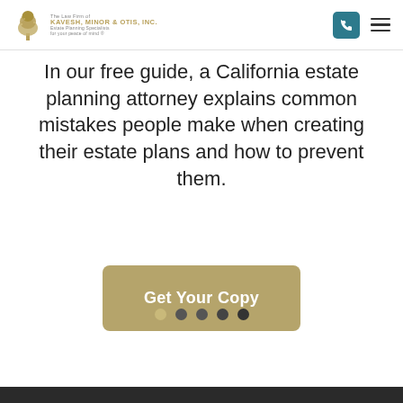The Law Firm of Kavesh, Minor & Otis, Inc. — Estate Planning Specialists — For your peace of mind
In our free guide, a California estate planning attorney explains common mistakes people make when creating their estate plans and how to prevent them.
[Figure (other): Button labeled 'Get Your Copy' with gold/tan background and white text, rounded corners]
[Figure (other): Carousel navigation dots: five dots, the first is gold/tan (active), the remaining four are dark gray]